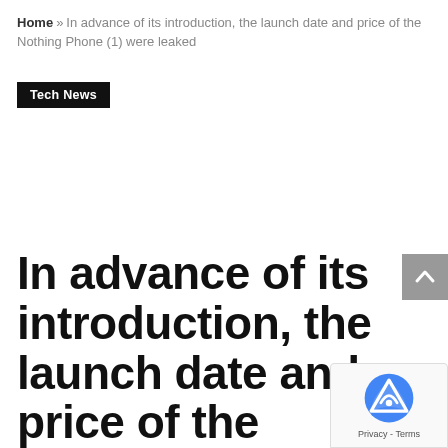Home » In advance of its introduction, the launch date and price of the Nothing Phone (1) were leaked
Tech News
In advance of its introduction, the launch date and price of the